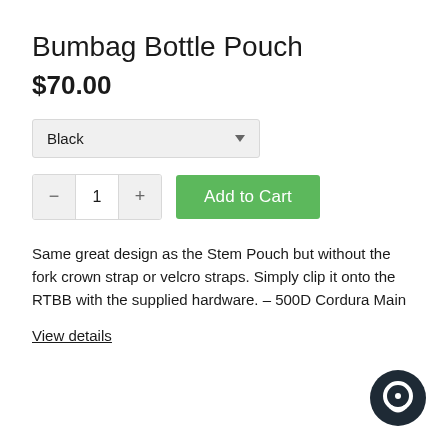Bumbag Bottle Pouch
$70.00
Black
- 1 + Add to Cart
Same great design as the Stem Pouch but without the fork crown strap or velcro straps. Simply clip it onto the RTBB with the supplied hardware. – 500D Cordura Main
View details